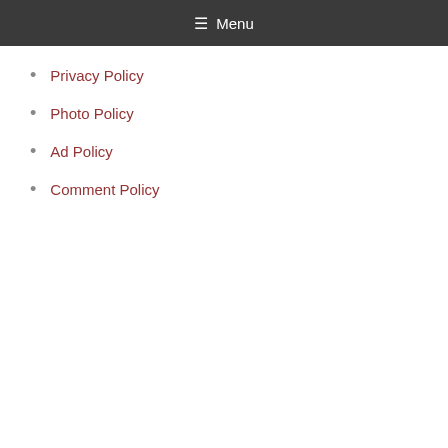☰ Menu
Privacy Policy
Photo Policy
Ad Policy
Comment Policy